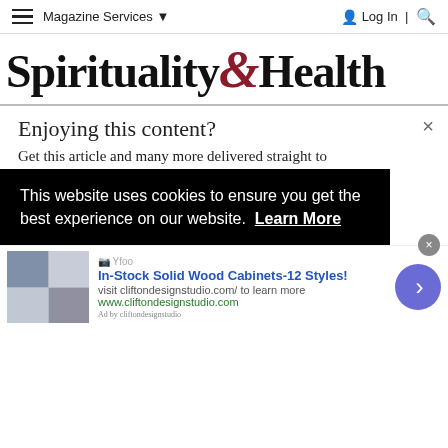Magazine Services ▾   Log In | 🔍
Spirituality & Health
Enjoying this content?
Get this article and many more delivered straight to
This website uses cookies to ensure you get the best experience on our website. Learn More
In-Stock Solid Wood Cabinets-12 Styles!
visit cliftondesignstudio.com/ to learn more
www.cliftondesignstudio.com